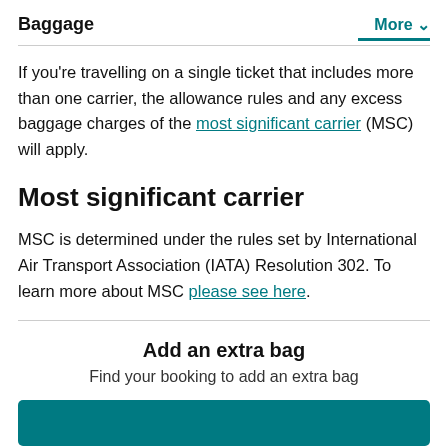Baggage   More
If you're travelling on a single ticket that includes more than one carrier, the allowance rules and any excess baggage charges of the most significant carrier (MSC) will apply.
Most significant carrier
MSC is determined under the rules set by International Air Transport Association (IATA) Resolution 302. To learn more about MSC please see here.
Add an extra bag
Find your booking to add an extra bag